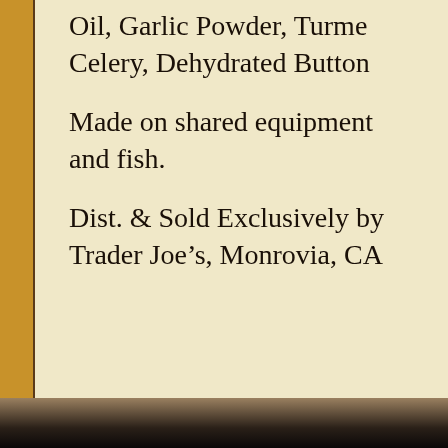Oil, Garlic Powder, Turme... Celery, Dehydrated Button...
Made on shared equipment... and fish.
Dist. & Sold Exclusively by Trader Joe's, Monrovia, CA...